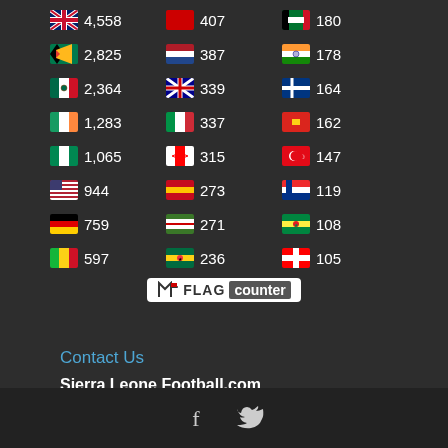[Figure (infographic): Flag counter widget showing visitor counts by country in three columns. Column 1: UK 4,558 / South Africa 2,825 / Mexico 2,364 / Ireland 1,283 / Nigeria 1,065 / USA 944 / Germany 759 / Mali 597. Column 2: (red flag) 407 / Netherlands 387 / Australia 339 / Italy 337 / Canada 315 / Spain 273 / Gambia 271 / Ghana 236. Column 3: UAE 180 / India 178 / Finland 164 / Vietnam 162 / Turkey 147 / Norway 119 / Senegal 108 / Switzerland 105. Flag Counter logo below.]
Contact Us
Sierra Leone Football.com
email: cserv@sierraleonefootball.com
Tel:+44 (0)7574 851961
[Figure (infographic): Social media icons: Facebook (f) and Twitter bird icon in footer bar]